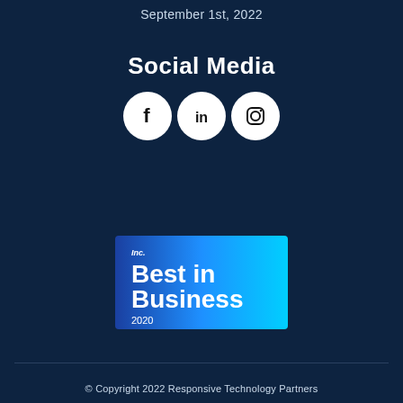September 1st, 2022
Social Media
[Figure (illustration): Three social media icons in white circles: Facebook (f), LinkedIn (in), Instagram (camera outline)]
[Figure (logo): Inc. Best in Business 2020 badge — blue gradient background with white bold text reading 'Inc. Best in Business 2020']
© Copyright 2022 Responsive Technology Partners